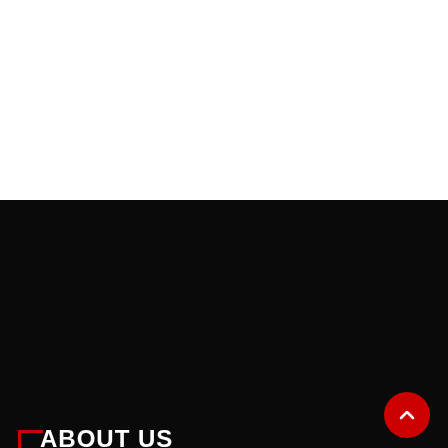[Figure (other): White background top section of a webpage]
ABOUT US
LockerRoom is a hangout place for everyone who cares about combat sports in India. We aim to provide a platform where everyone can discuss, network, debate, get latest updates and news, checkout exclusive interviews and stories regarding the Indian combat sports scene.